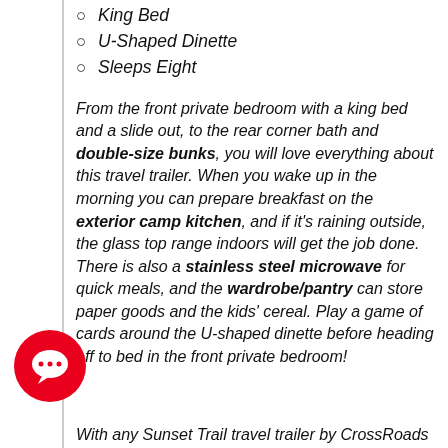King Bed
U-Shaped Dinette
Sleeps Eight
From the front private bedroom with a king bed and a slide out, to the rear corner bath and double-size bunks, you will love everything about this travel trailer. When you wake up in the morning you can prepare breakfast on the exterior camp kitchen, and if it's raining outside, the glass top range indoors will get the job done. There is also a stainless steel microwave for quick meals, and the wardrobe/pantry can store paper goods and the kids' cereal. Play a game of cards around the U-shaped dinette before heading off to bed in the front private bedroom!
With any Sunset Trail travel trailer by CrossRoads